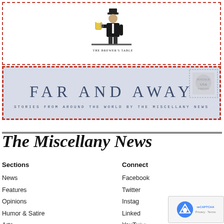[Figure (logo): The Brewer's Table logo: illustrated man in top hat holding a beer mug at a bar, with text 'THE BREWER'S TABLE' below]
[Figure (logo): Far and Away banner: light blue-grey background with large text 'FAR AND AWAY' and subtitle 'STORIES FROM AROUND THE WORLD BY THE MISCELLANY NEWS', stamp graphic in top right corner]
The Miscellany News
Sections
News
Features
Opinions
Humor & Satire
Arts
Connect
Facebook
Twitter
Instagram
LinkedIn
YouTube